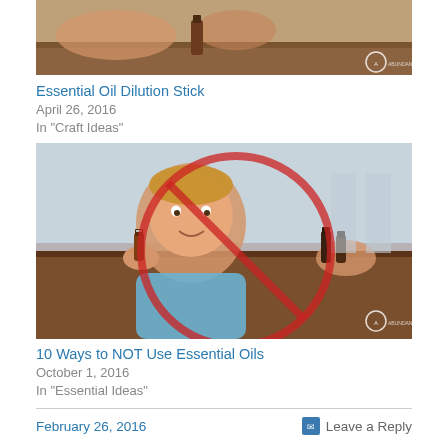[Figure (photo): Photo of hands near essential oil bottle on wooden surface, with Abundant watermark]
Essential Oil Dilution Stick
April 26, 2016
In "Craft Ideas"
[Figure (photo): Photo of a young child holding essential oil bottles near a wooden table, with a red circle-and-slash safety warning overlay, Abundant watermark]
10 Ways to NOT Use Essential Oils
October 1, 2016
In "Essential Ideas"
February 26, 2016
Leave a Reply